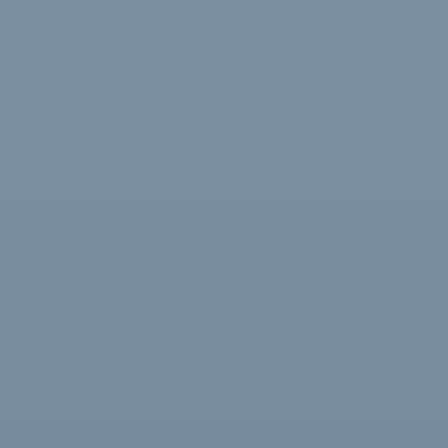[Figure (photo): A uniformly blue-grey colored background with very subtle texture and slight tonal variations. No distinct subjects, text, or clear content visible — appears to be a solid or near-solid muted steel-blue/slate colored surface or background image.]